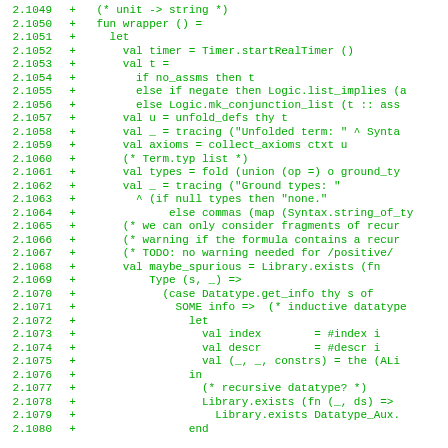[Figure (screenshot): Code diff view showing lines 2.1049–2.1080 of an ML/SML source file with green monospace text on white background, each line prefixed with line number and a '+' symbol indicating added lines.]